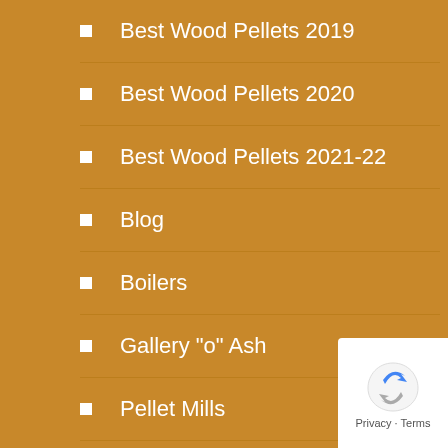Best Wood Pellets 2019
Best Wood Pellets 2020
Best Wood Pellets 2021-22
Blog
Boilers
Gallery "o" Ash
Pellet Mills
Pellet News
Resources
Reviews
BBQ Grilling Pellets
Fire Logs
Pellet Grills
[Figure (logo): Google reCAPTCHA privacy badge with blue and grey arrow icon and Privacy - Terms text]